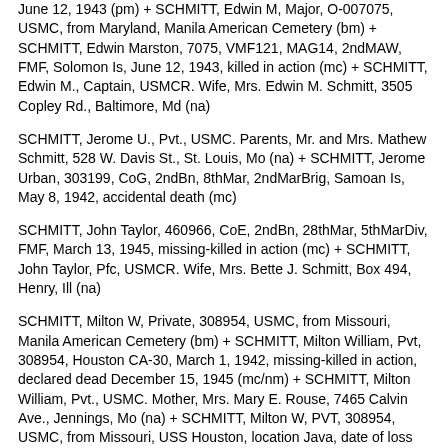June 12, 1943 (pm) + SCHMITT, Edwin M, Major, O-007075, USMC, from Maryland, Manila American Cemetery (bm) + SCHMITT, Edwin Marston, 7075, VMF121, MAG14, 2ndMAW, FMF, Solomon Is, June 12, 1943, killed in action (mc) + SCHMITT, Edwin M., Captain, USMCR. Wife, Mrs. Edwin M. Schmitt, 3505 Copley Rd., Baltimore, Md (na)
SCHMITT, Jerome U., Pvt., USMC. Parents, Mr. and Mrs. Mathew Schmitt, 528 W. Davis St., St. Louis, Mo (na) + SCHMITT, Jerome Urban, 303199, CoG, 2ndBn, 8thMar, 2ndMarBrig, Samoan Is, May 8, 1942, accidental death (mc)
SCHMITT, John Taylor, 460966, CoE, 2ndBn, 28thMar, 5thMarDiv, FMF, March 13, 1945, missing-killed in action (mc) + SCHMITT, John Taylor, Pfc, USMCR. Wife, Mrs. Bette J. Schmitt, Box 494, Henry, Ill (na)
SCHMITT, Milton W, Private, 308954, USMC, from Missouri, Manila American Cemetery (bm) + SCHMITT, Milton William, Pvt, 308954, Houston CA-30, March 1, 1942, missing-killed in action, declared dead December 15, 1945 (mc/nm) + SCHMITT, Milton William, Pvt., USMC. Mother, Mrs. Mary E. Rouse, 7465 Calvin Ave., Jennings, Mo (na) + SCHMITT, Milton W, PVT, 308954, USMC, from Missouri, USS Houston, location Java, date of loss December 15, 1945 (pm)